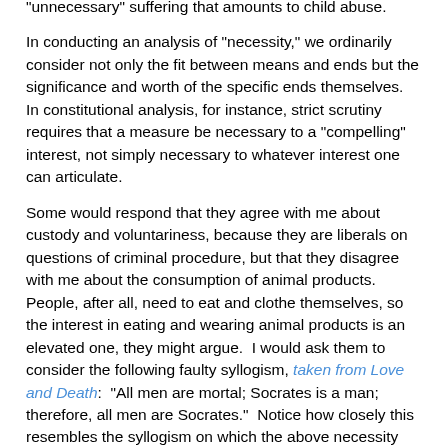reasons, we understand the accompanying mutilation as "unnecessary" suffering that amounts to child abuse.
In conducting an analysis of "necessity," we ordinarily consider not only the fit between means and ends but the significance and worth of the specific ends themselves.  In constitutional analysis, for instance, strict scrutiny requires that a measure be necessary to a "compelling" interest, not simply necessary to whatever interest one can articulate.
Some would respond that they agree with me about custody and voluntariness, because they are liberals on questions of criminal procedure, but that they disagree with me about the consumption of animal products.  People, after all, need to eat and clothe themselves, so the interest in eating and wearing animal products is an elevated one, they might argue.  I would ask them to consider the following faulty syllogism, taken from Love and Death:  "All men are mortal; Socrates is a man; therefore, all men are Socrates."  Notice how closely this resembles the syllogism on which the above necessity argument about animal-based food is premised:  "Humans need food; animal products (including the flesh and secretions of slaughtered animals) are food; therefore